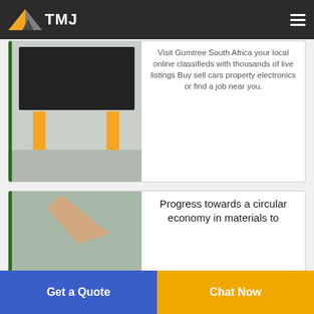TMJ
[Figure (photo): Photo of industrial machine on yellow legs, dark metal frame, top portion visible]
Visit Gumtree South Africa your local online classifieds with thousands of live listings Buy sell cars property electronics or find a job near you.
[Figure (photo): Photo of red industrial machine (crusher/shredder) with a plastic piece being fed into it, mounted on red stand]
Progress towards a circular economy in materials to
Get a Quote
Chat Now